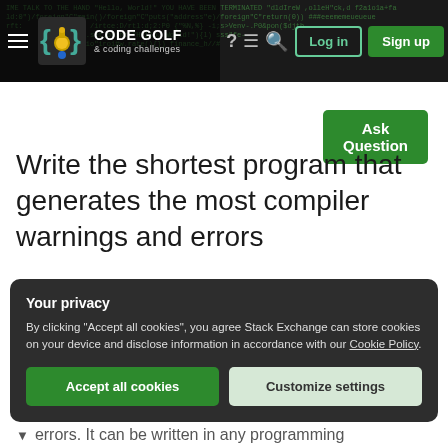Code Golf & coding challenges — header navigation bar with hamburger menu, logo, question mark icon, speech bubble icon, search icon, Log in button, Sign up button
[Figure (screenshot): Code Golf website header with dark background showing scrolling code text, logo with curly braces and medal icon, navigation icons, Log in and Sign up buttons]
Ask Question
Write the shortest program that generates the most compiler warnings and errors
Your privacy
By clicking "Accept all cookies", you agree Stack Exchange can store cookies on your device and disclose information in accordance with our Cookie Policy.
Accept all cookies
Customize settings
errors. It can be written in any programming